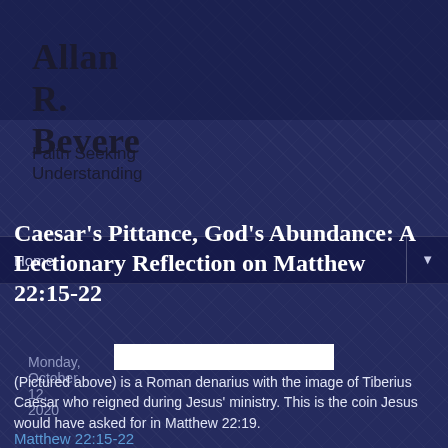Allan R. Bevere
Faith Seeking Understanding
Home ▼
Monday, October 12, 2020
Caesar's Pittance, God's Abundance: A Lectionary Reflection on Matthew 22:15-22
[Figure (photo): Image of a Roman denarius coin with the image of Tiberius Caesar]
(Pictured above) is a Roman denarius with the image of Tiberius Caesar who reigned during Jesus' ministry. This is the coin Jesus would have asked for in Matthew 22:19.
Matthew 22:15-22